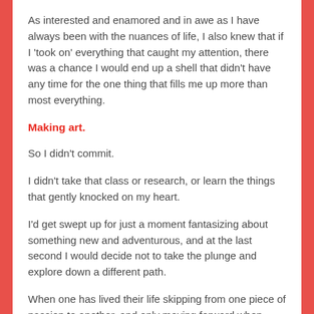As interested and enamored and in awe as I have always been with the nuances of life, I also knew that if I 'took on' everything that caught my attention, there was a chance I would end up a shell that didn't have any time for the one thing that fills me up more than most everything.
Making art.
So I didn't commit.
I didn't take that class or research, or learn the things that gently knocked on my heart.
I'd get swept up for just a moment fantasizing about something new and adventurous, and at the last second I would decide not to take the plunge and explore down a different path.
When one has lived their life skipping from one piece of passion to another, and only moving forward when